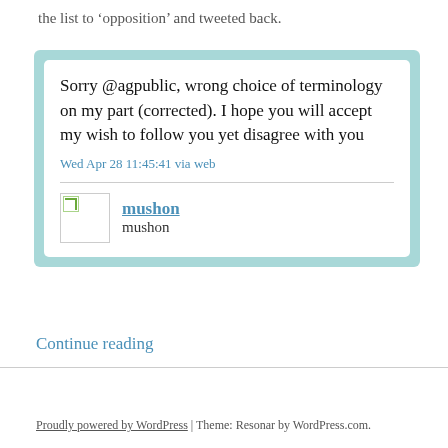the list to ‘opposition’ and tweeted back.
[Figure (screenshot): Screenshot of a tweet by mushon reading: 'Sorry @agpublic, wrong choice of terminology on my part (corrected). I hope you will accept my wish to follow you yet disagree with you' posted Wed Apr 28 11:45:41 via web. User avatar and username 'mushon' shown below.]
Continue reading
Proudly powered by WordPress | Theme: Resonar by WordPress.com.